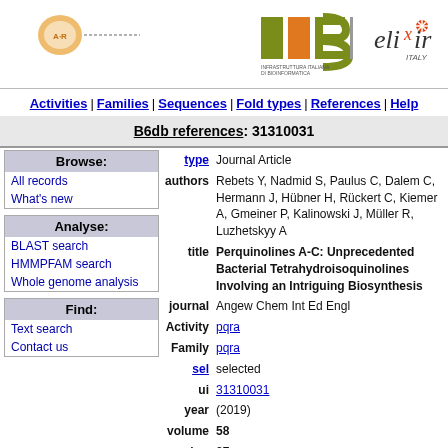[Figure (logo): IIB (Infrastruttura Italiana di Bioinformatica) and ELIXIR Italy logos in page header]
Activities | Families | Sequences | Fold types | References | Help
B6db references: 31310031
Browse:
All records
What's new
Analyse:
BLAST search
HMMPFAM search
Whole genome analysis
Find:
Text search
Contact us
| field | value |
| --- | --- |
| type | Journal Article |
| authors | Rebets Y, Nadmid S, Paulus C, Dalem C, Hermann J, Hübner H, Rückert C, Kiemer A, Gmeiner P, Kalinowski J, Müller R, Luzhetskyy A |
| title | Perquinolines A-C: Unprecedented Bacterial Tetrahydroisoquinolines Involving an Intriguing Biosynthesis |
| journal | Angew Chem Int Ed Engl |
| Activity | pqra |
| Family | pqra |
| sel | selected |
| ui | 31310031 |
| year | (2019) |
| volume | 58 |
| number | 37 |